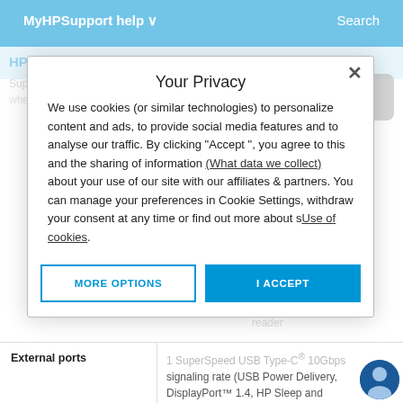MyHPSupport help ∨    Search
[Figure (screenshot): HP Support Assistant BETA page in background with App Store download button, partially visible behind privacy modal overlay]
Your Privacy
We use cookies (or similar technologies) to personalize content and ads, to provide social media features and to analyse our traffic. By clicking "Accept ", you agree to this and the sharing of information (What data we collect) about your use of our site with our affiliates & partners. You can manage your preferences in Cookie Settings, withdraw your consent at any time or find out more about sUse of cookies.
MORE OPTIONS    I ACCEPT
|  |  |
| --- | --- |
| External ports | 1 SuperSpeed USB Type-C® 10Gbps signaling rate (USB Power Delivery, DisplayPort™ 1.4, HP Sleep and Charge); 2 SuperSpeed USB Type-A 5Gbps signaling rate; 1 HDMI 2.0; 1 AC smart pin; 1 |